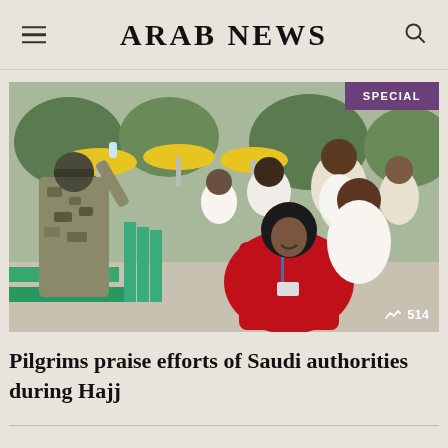ARAB NEWS
[Figure (photo): Crowd of Hajj pilgrims walking outside, a woman in a red abaya with a lanyard in the foreground smiling, men in white ihram robes behind her, a security officer in camouflage to the left, yellow DHL umbrellas and green barriers visible in the background. SPECIAL badge top right, view count 514 bottom right.]
Pilgrims praise efforts of Saudi authorities during Hajj